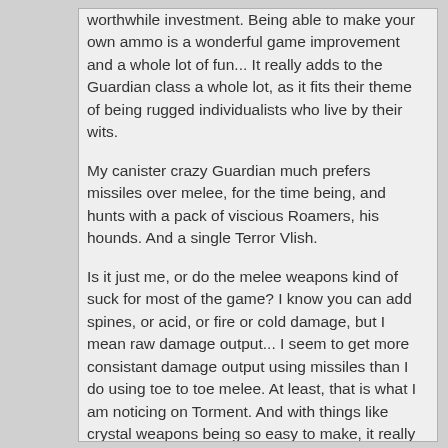worthwhile investment. Being able to make your own ammo is a wonderful game improvement and a whole lot of fun... It really adds to the Guardian class a whole lot, as it fits their theme of being rugged individualists who live by their wits.
My canister crazy Guardian much prefers missiles over melee, for the time being, and hunts with a pack of viscious Roamers, his hounds. And a single Terror Vlish.
Is it just me, or do the melee weapons kind of suck for most of the game? I know you can add spines, or acid, or fire or cold damage, but I mean raw damage output... I seem to get more consistant damage output using missiles than I do using toe to toe melee. At least, that is what I am noticing on Torment. And with things like crystal weapons being so easy to make, it really tips the scales for a "Hunter" Guardian. It's very easy to stockpile ammo.